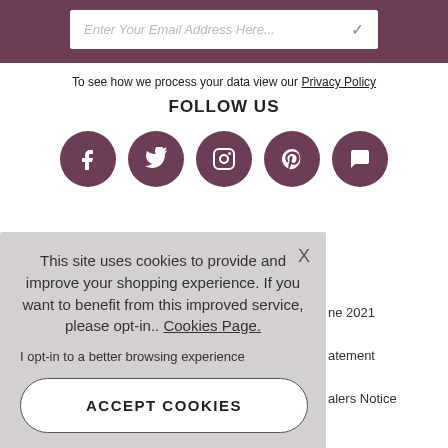[Figure (screenshot): Email input bar with placeholder text 'Enter Your Email Address Here...' and a checkmark icon on a dark mauve background]
To see how we process your data view our Privacy Policy
FOLLOW US
[Figure (illustration): Five circular social media icons (Facebook, Twitter, Instagram, Pinterest, Chat/Comments) in dark mauve color]
This site uses cookies to provide and improve your shopping experience. If you want to benefit from this improved service, please opt-in.. Cookies Page.
I opt-in to a better browsing experience
ACCEPT COOKIES
ne 2021
atement
alers Notice